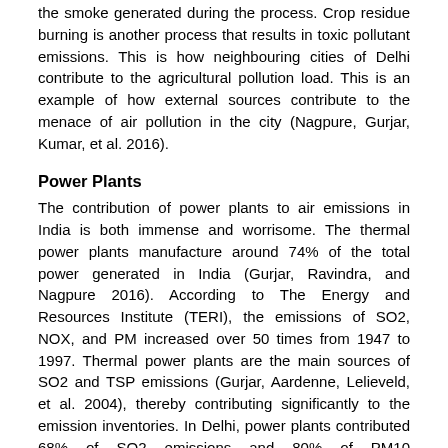the smoke generated during the process. Crop residue burning is another process that results in toxic pollutant emissions. This is how neighbouring cities of Delhi contribute to the agricultural pollution load. This is an example of how external sources contribute to the menace of air pollution in the city (Nagpure, Gurjar, Kumar, et al. 2016).
Power Plants
The contribution of power plants to air emissions in India is both immense and worrisome. The thermal power plants manufacture around 74% of the total power generated in India (Gurjar, Ravindra, and Nagpure 2016). According to The Energy and Resources Institute (TERI), the emissions of SO2, NOX, and PM increased over 50 times from 1947 to 1997. Thermal power plants are the main sources of SO2 and TSP emissions (Gurjar, Aardenne, Lelieveld, et al. 2004), thereby contributing significantly to the emission inventories. In Delhi, power plants contributed 68% of SO2 emissions and 80% of PM10 concentrations over a period from 1990 to 2000 (Gurjar, Aardenne,